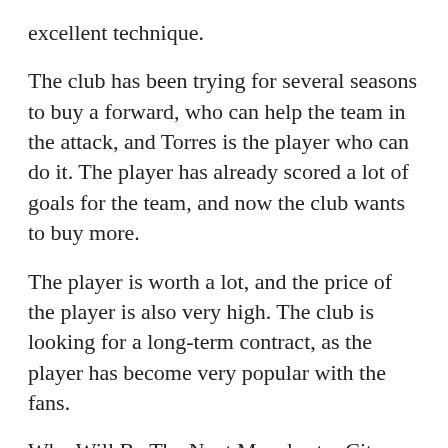excellent technique.
The club has been trying for several seasons to buy a forward, who can help the team in the attack, and Torres is the player who can do it. The player has already scored a lot of goals for the team, and now the club wants to buy more.
The player is worth a lot, and the price of the player is also very high. The club is looking for a long-term contract, as the player has become very popular with the fans.
Who Will Be The Next Manchester City Forward?
The club has many options for the purchase of the forward. They include:
1. Transfer of Aguero. The Spanish player is considered the main star of the current season of the club. He has already managed to score a lot in the Premier League